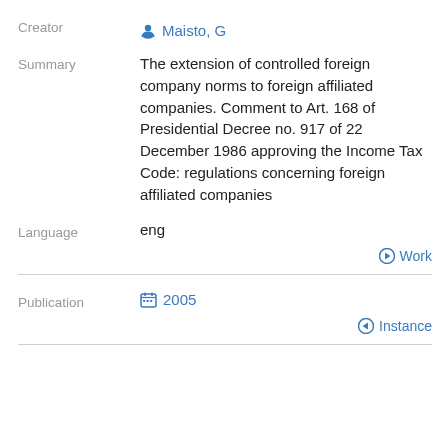Creator
Maisto, G
Summary
The extension of controlled foreign company norms to foreign affiliated companies. Comment to Art. 168 of Presidential Decree no. 917 of 22 December 1986 approving the Income Tax Code: regulations concerning foreign affiliated companies
Language
eng
Work
Publication
2005
Instance